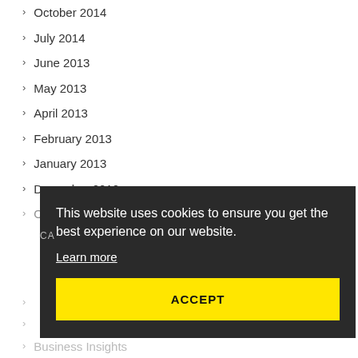October 2014
July 2014
June 2013
May 2013
April 2013
February 2013
January 2013
December 2012
October 2012
This website uses cookies to ensure you get the best experience on our website.
Learn more
ACCEPT
Business Insights